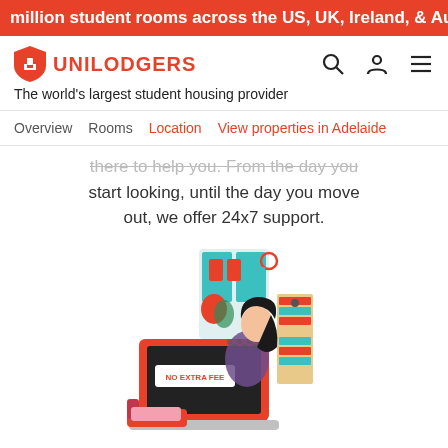million student rooms across the US, UK, Ireland, & Australia
[Figure (logo): Unilodgers logo with shield icon and red text]
The world's largest student housing provider
Overview  Rooms  Location  View properties in Adelaide
there to help you. From the day you start looking, until the day you move out, we offer 24x7 support.
[Figure (illustration): Illustration of a person sitting at a laptop with a stethoscope and bookshelf, laptop shows 'NO EXTRA FEE']